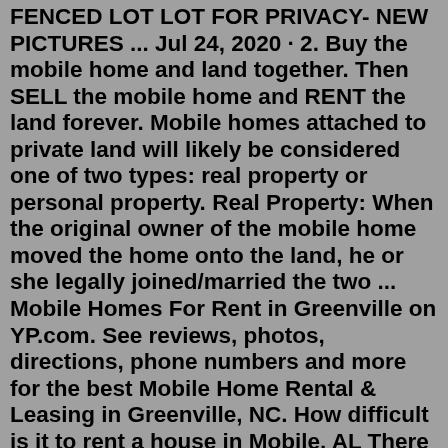FENCED LOT LOT FOR PRIVACY- NEW PICTURES ... Jul 24, 2020 · 2. Buy the mobile home and land together. Then SELL the mobile home and RENT the land forever. Mobile homes attached to private land will likely be considered one of two types: real property or personal property. Real Property: When the original owner of the mobile home moved the home onto the land, he or she legally joined/married the two ... Mobile Homes For Rent in Greenville on YP.com. See reviews, photos, directions, phone numbers and more for the best Mobile Home Rental & Leasing in Greenville, NC. How difficult is it to rent a house in Mobile, AL There are currently 44 houses available for rent which fluctuated -3.06% over the last 30-day period for Mobile. What are the rental costs for houses in Mobile, AL? The median rent in Mobile is $1,110. That's $359 below the national average rent of $1,469. If you're looking for houses for rent, HomeFinder features thousands of listings in every state in the U.S. We make the process easy and straightforward with filters that can narrow